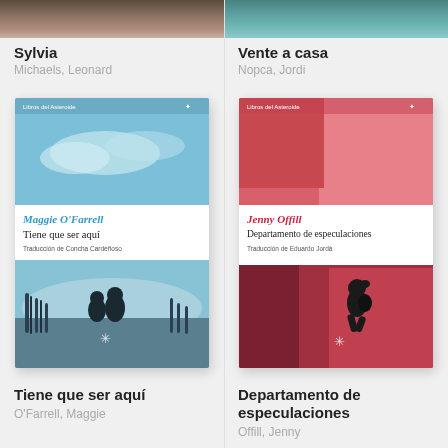[Figure (photo): Top portion of book cover for Sylvia - dark portrait photo strip]
Sylvia
Michaels, Leonard
[Figure (photo): Top portion of book cover for Vente a casa - teal/architectural image strip]
Vente a casa
Nopca, Jordi
[Figure (illustration): Book cover: Libros del Asteroide. Maggie O'Farrell, Tiene que ser aquí. Traducción de Concha Cardeñoso. Blue tones with two silhouetted figures sitting by water, reeds in foreground.]
[Figure (illustration): Book cover: Libros del Asteroide. Jenny Offill, Departamento de especulaciones. Traducción de Eduardo Jordá. Pink/red tones with a running child silhouette.]
Tiene que ser aquí
O'Farrell, Maggie
Departamento de especulaciones
Offill, Jenny